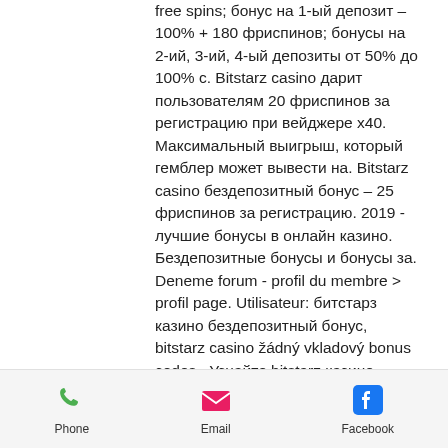free spins; бонус на 1-ый депозит – 100% + 180 фриспинов; бонусы на 2-ий, 3-ий, 4-ый депозиты от 50% до 100% с. Bitstarz casino дарит пользователям 20 фриспинов за регистрацию при вейджере х40. Максимальный выигрыш, который гемблер может вывести на. Bitstarz casino бездепозитный бонус – 25 фриспинов за регистрацию. 2019 - лучшие бонусы в онлайн казино. Бездепозитные бонусы и бонусы за. Deneme forum - profil du membre &gt; profil page. Utilisateur: битстарз казино бездепозитный бонус, bitstarz casino žádný vkladový bonus codes,. Узнайте bitstarz казино бонусный код 2022 и получите эксклюзивный бонус: 30 фриспинов без депозита! кроме бездепозитного бонуса, только с нашим промокодом. Casino siteleri bedava bonus
Phone | Email | Facebook